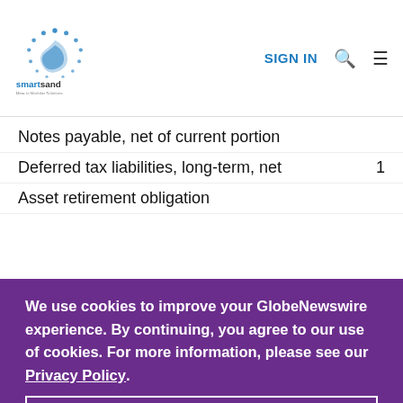smartsand | SIGN IN
Notes payable, net of current portion
Deferred tax liabilities, long-term, net    1
Asset retirement obligation
We use cookies to improve your GlobeNewswire experience. By continuing, you agree to our use of cookies. For more information, please see our Privacy Policy.
ACCEPT